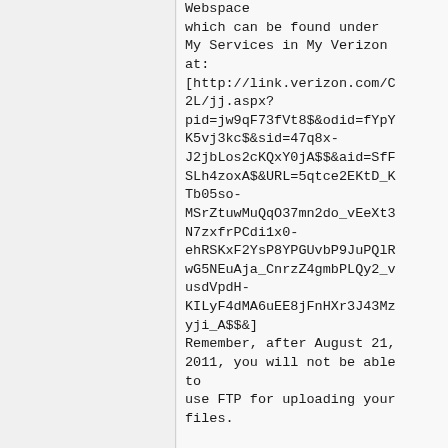Webspace
which can be found under
My Services in My Verizon
at:
[http://link.verizon.com/C2L/jj.aspx?pid=jw9qF73fVt8$&odid=fYpYK5vj3kc$&sid=47q8x-J2jbLos2cKQxY0jA$$&aid=SfFSLh4zoxA$&URL=5qtce2EKtD_KTb05so-MSrZtuwMuQqO37mn2do_vEeXt3N7zxfrPCdi1x0-ehRSKxF2YsP8YPGUvbP9JuPQlRwG5NEuAja_CnrzZ4gmbPLQy2_vusdVpdH-KILyF4dMA6uEE8jFnHXr3J43MzyjiA$$&]
Remember, after August 21,
2011, you will not be able
to
use FTP for uploading your
files.

Thanks for being a valued